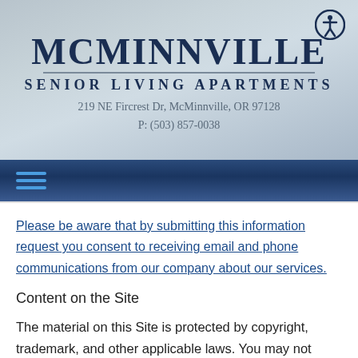[Figure (logo): McMinnville Senior Living Apartments logo with accessibility icon]
[Figure (other): Navigation bar with hamburger menu icon]
Please be aware that by submitting this information request you consent to receiving email and phone communications from our company about our services.
Content on the Site
The material on this Site is protected by copyright, trademark, and other applicable laws. You may not modify, copy, reproduce, republish, upload, post, transmit, publicly